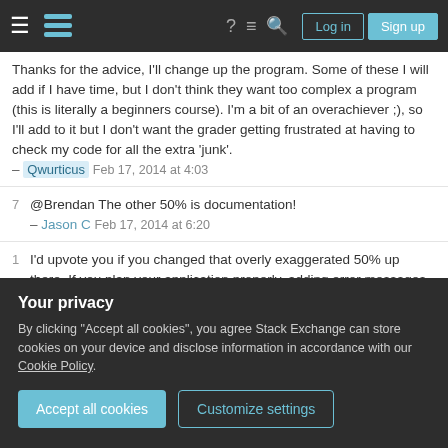Stack Exchange navigation header with logo, icons, Log in, Sign up buttons
Thanks for the advice, I'll change up the program. Some of these I will add if I have time, but I don't think they want too complex a program (this is literally a beginners course). I'm a bit of an overachiever ;), so I'll add to it but I don't want the grader getting frustrated at having to check my code for all the extra 'junk'. – Qwurticus Feb 17, 2014 at 4:03
7 @Brendan The other 50% is documentation! – Jason C Feb 17, 2014 at 6:20
1 I'd upvote you if you changed that overly exaggerated 50% up there. If you plan your application properly, adding error messages and warnings should not take more more than 10% of total development time.
Your privacy
By clicking "Accept all cookies", you agree Stack Exchange can store cookies on your device and disclose information in accordance with our Cookie Policy.
Accept all cookies  Customize settings
3 @dezamorah It's about adding error handling, not